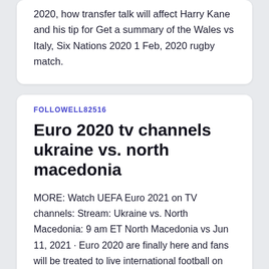2020, how transfer talk will affect Harry Kane and his tip for Get a summary of the Wales vs Italy, Six Nations 2020 1 Feb, 2020 rugby match.
FOLLOWELL82516
Euro 2020 tv channels ukraine vs. north macedonia
MORE: Watch UEFA Euro 2021 on TV channels: Stream: Ukraine vs. North Macedonia: 9 am ET North Macedonia vs Jun 11, 2021 · Euro 2020 are finally here and fans will be treated to live international football on TV for an entire month.